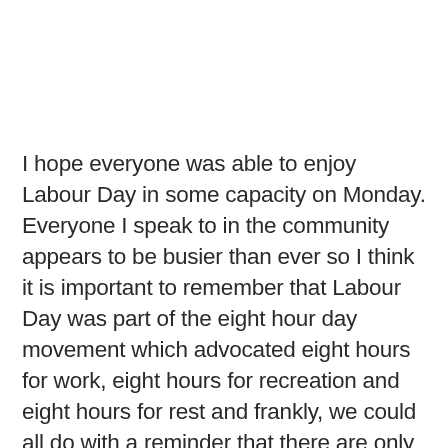I hope everyone was able to enjoy Labour Day in some capacity on Monday. Everyone I speak to in the community appears to be busier than ever so I think it is important to remember that Labour Day was part of the eight hour day movement which advocated eight hours for work, eight hours for recreation and eight hours for rest and frankly, we could all do with a reminder that there are only so many hours in the day and it is essential for our wellbeing to take time off and spend time with our loved ones to do